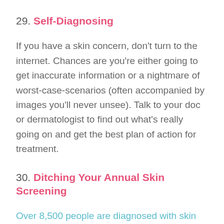29. Self-Diagnosing
If you have a skin concern, don't turn to the internet. Chances are you're either going to get inaccurate information or a nightmare of worst-case-scenarios (often accompanied by images you'll never unsee). Talk to your doc or dermatologist to find out what's really going on and get the best plan of action for treatment.
30. Ditching Your Annual Skin Screening
Over 8,500 people are diagnosed with skin cancer in the U.S. every day, so it's super important to stay on top of your